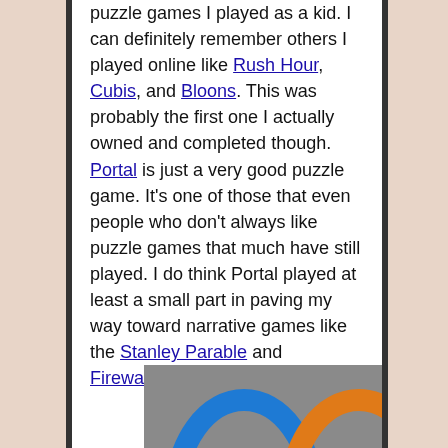puzzle games I played as a kid. I can definitely remember others I played online like Rush Hour, Cubis, and Bloons. This was probably the first one I actually owned and completed though. Portal is just a very good puzzle game. It's one of those that even people who don't always like puzzle games that much have still played. I do think Portal played at least a small part in paving my way toward narrative games like the Stanley Parable and Firewatch.
[Figure (photo): Bottom portion of an image showing blue and orange curved shapes, likely portal gun portals from the game Portal, against a grey background.]